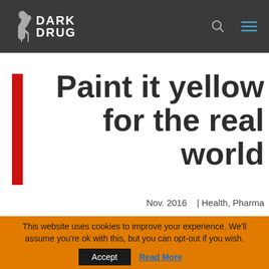DARK DRUG
Paint it yellow for the real world
Nov. 2016   | Health, Pharma
This website uses cookies to improve your experience. We'll assume you're ok with this, but you can opt-out if you wish. Accept  Read More